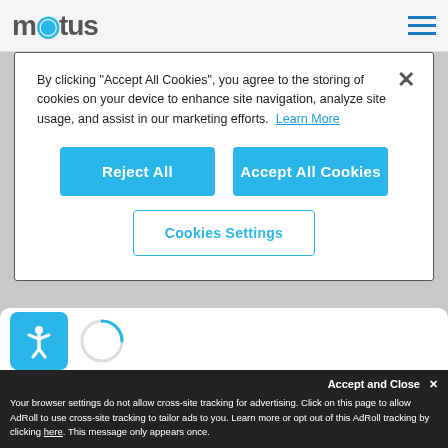[Figure (screenshot): Motus website logo with blue dot on letter o, and hamburger menu icon]
By clicking "Accept All Cookies", you agree to the storing of cookies on your device to enhance site navigation, analyze site usage, and assist in our marketing efforts. Learn More
Reject All
Accept All Cookies
Cookies Settings
[Figure (screenshot): Accessibility icon (person with arms extended) on blue square background, and partial loading circle icon]
Accept and Close ✕
Your browser settings do not allow cross-site tracking for advertising. Click on this page to allow AdRoll to use cross-site tracking to tailor ads to you. Learn more or opt out of this AdRoll tracking by clicking here. This message only appears once.